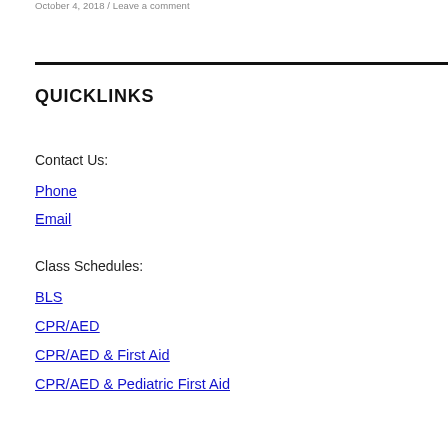October 4, 2018 / Leave a comment
QUICKLINKS
Contact Us:
Phone
Email
Class Schedules:
BLS
CPR/AED
CPR/AED & First Aid
CPR/AED & Pediatric First Aid